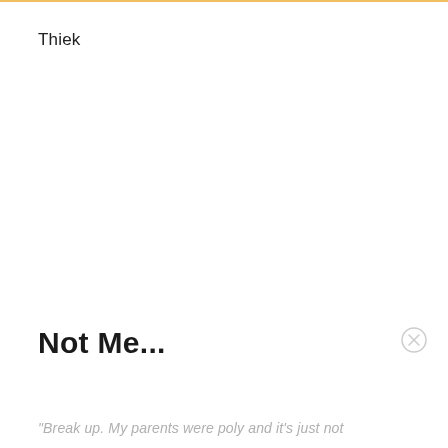Thiek
Not Me...
"Break up. My parents were poly and it's just not